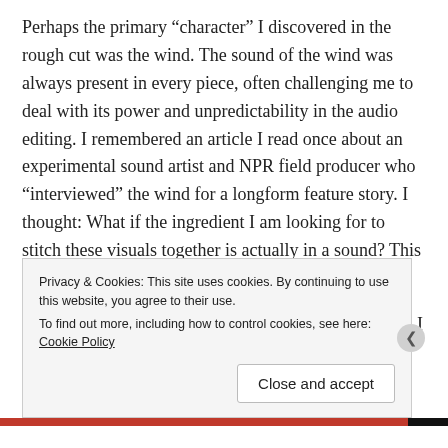Perhaps the primary “character” I discovered in the rough cut was the wind. The sound of the wind was always present in every piece, often challenging me to deal with its power and unpredictability in the audio editing. I remembered an article I read once about an experimental sound artist and NPR field producer who “interviewed” the wind for a longform feature story. I thought: What if the ingredient I am looking for to stitch these visuals together is actually in a sound? This idea felt right.

This is the moment I did something very 21st century: I
Privacy & Cookies: This site uses cookies. By continuing to use this website, you agree to their use.
To find out more, including how to control cookies, see here: Cookie Policy